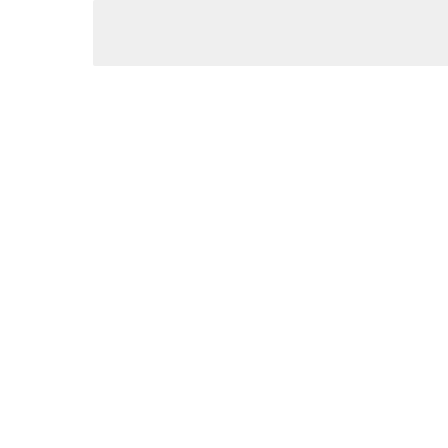[Figure (screenshot): Gray placeholder thumbnail image block at top left]
[Figure (screenshot): Thumbnail image for barcelona entry]
barcelo...
Barcelona ... accomm... Barcelona congresses, ...
[Figure (screenshot): Thumbnail image for muji.es entry]
muji.es
Muji's m... lifestyle...
[Figure (screenshot): Thumbnail image for tecs.es entry]
tecs.es
¿Busca... inglés, ... de idiom...
[Figure (screenshot): Thumbnail image for cnn.es entry]
cnn.es
CNN.c...